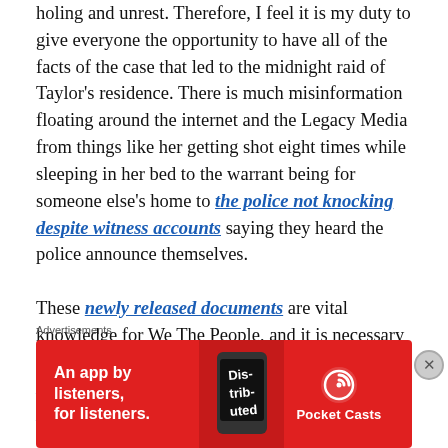holing and unrest. Therefore, I feel it is my duty to give everyone the opportunity to have all of the facts of the case that led to the midnight raid of Taylor's residence. There is much misinformation floating around the internet and the Legacy Media from things like her getting shot eight times while sleeping in her bed to the warrant being for someone else's home to the police not knocking despite witness accounts saying they heard the police announce themselves.

These newly released documents are vital knowledge for We The People, and it is necessary that the actual facts are out there regarding the Breonna Taylor case. Brought to you by Officer Brandon Tatum of The Tatum Report. and
Advertisements
[Figure (infographic): Red advertisement banner for Pocket Casts app reading 'An app by listeners, for listeners.' with a phone graphic showing 'Dis-trib-uted' and the Pocket Casts logo and name.]